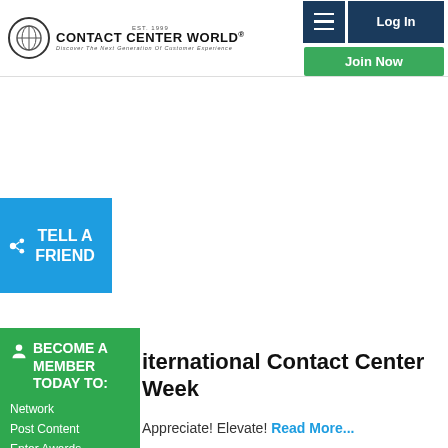Contact Center World - Discover The Next Generation Of Customer Experience
[Figure (logo): Contact Center World logo with circular emblem and tagline]
Log In
Join Now
TELL A FRIEND
BECOME A MEMBER TODAY TO: Network Post Content Enter Awards + Much More
International Contact Center Week
Appreciate! Elevate! Read More...